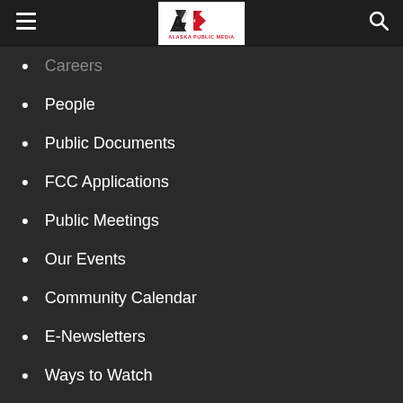Alaska Public Media
Careers
People
Public Documents
FCC Applications
Public Meetings
Our Events
Community Calendar
E-Newsletters
Ways to Watch
CONTRIBUTE
Donate Now
Ways to Give